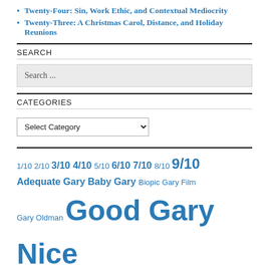Twenty-Four: Sin, Work Ethic, and Contextual Mediocrity
Twenty-Three: A Christmas Carol, Distance, and Holiday Reunions
SEARCH
Search ...
CATEGORIES
Select Category
1/10 2/10 3/10 4/10 5/10 6/10 7/10 8/10 9/10 Adequate Gary Baby Gary Biopic Gary Film Gary Oldman Good Gary Nice